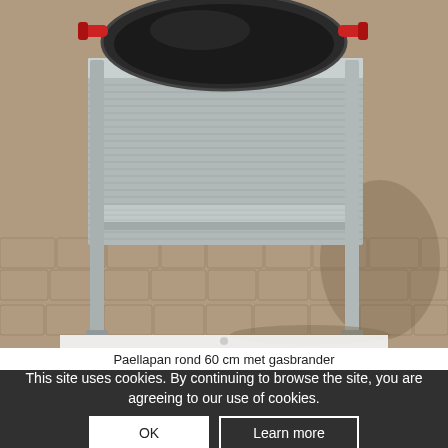[Figure (photo): Outdoor photo of a paella pan (round, approximately 60 cm) placed on a stainless steel cart/stand with two shelves, set on a cobblestone surface. The pan has red handles and is dark in color.]
Paellapan rond 60 cm met gasbrander
This site uses cookies. By continuing to browse the site, you are agreeing to our use of cookies.